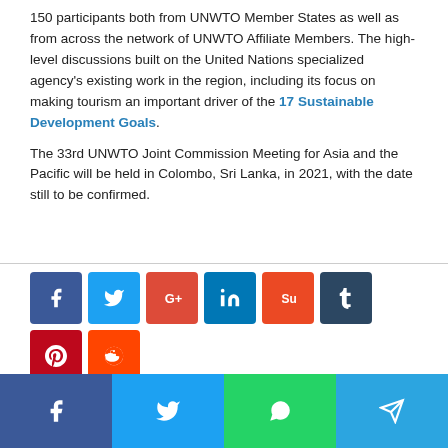150 participants both from UNWTO Member States as well as from across the network of UNWTO Affiliate Members. The high-level discussions built on the United Nations specialized agency's existing work in the region, including its focus on making tourism an important driver of the 17 Sustainable Development Goals.
The 33rd UNWTO Joint Commission Meeting for Asia and the Pacific will be held in Colombo, Sri Lanka, in 2021, with the date still to be confirmed.
[Figure (other): Social media share buttons including Facebook, Twitter, Google, LinkedIn, StumbleUpon, Tumblr, Pinterest, Reddit, VK, Email, and Print icons]
[Figure (other): Bottom social share bar with Facebook, Twitter, WhatsApp, and Telegram buttons]